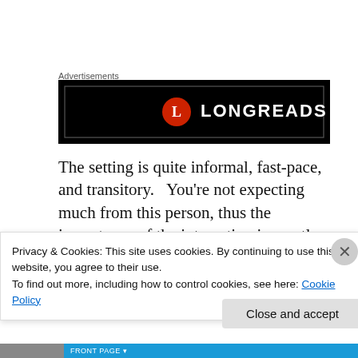Advertisements
[Figure (logo): Longreads logo on black background — red circle with white 'L' followed by 'LONGREADS' in white text]
The setting is quite informal, fast-pace, and transitory.   You're not expecting much from this person, thus the importance of the interaction is greatly diminished.  It is not an interaction based
Privacy & Cookies: This site uses cookies. By continuing to use this website, you agree to their use.
To find out more, including how to control cookies, see here: Cookie Policy
Close and accept